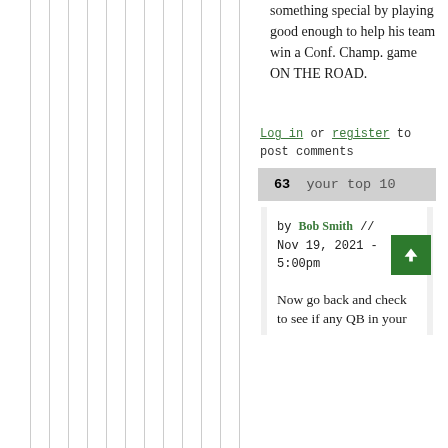something special by playing good enough to help his team win a Conf. Champ. game ON THE ROAD.
Log in or register to post comments
63  your top 10
by Bob Smith // Nov 19, 2021 - 5:00pm
Now go back and check to see if any QB in your